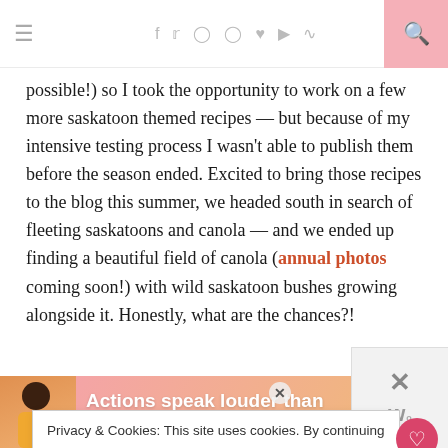≡  f  Twitter  Instagram  Pinterest  ♥  YouTube  RSS  🔍
possible!) so I took the opportunity to work on a few more saskatoon themed recipes — but because of my intensive testing process I wasn't able to publish them before the season ended. Excited to bring those recipes to the blog this summer, we headed south in search of fleeting saskatoons and canola — and we ended up finding a beautiful field of canola (annual photos coming soon!) with wild saskatoon bushes growing alongside it. Honestly, what are the chances?!
Privacy & Cookies: This site uses cookies. By continuing to use this website, you agree to their use.
To find out more, including how to control cookies, see here: Privacy Policy
Actions speak louder than words.